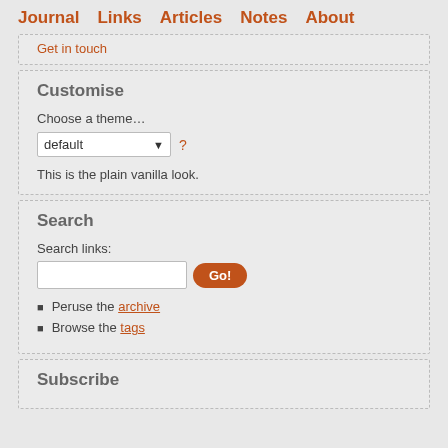Journal  Links  Articles  Notes  About
Get in touch
Customise
Choose a theme…
default  ?
This is the plain vanilla look.
Search
Search links:
Go!
Peruse the archive
Browse the tags
Subscribe